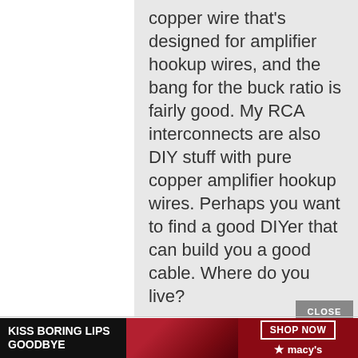copper wire that's designed for amplifier hookup wires, and the bang for the buck ratio is fairly good. My RCA interconnects are also DIY stuff with pure copper amplifier hookup wires. Perhaps you want to find a good DIYer that can build you a good cable. Where do you live?
[Figure (screenshot): Advertisement banner: 'KISS BORING LIPS GOODBYE' with a woman's face and red lips, SHOP NOW button, Macy's logo with star]